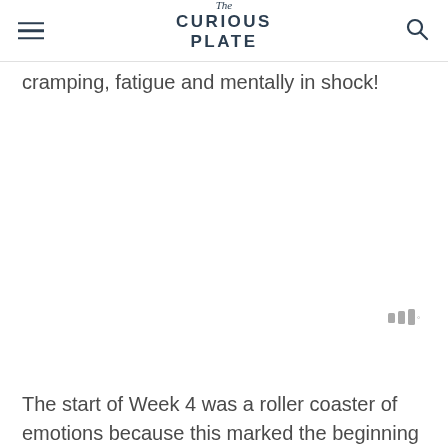The Curious Plate
cramping, fatigue and mentally in shock!
The start of Week 4 was a roller coaster of emotions because this marked the beginning